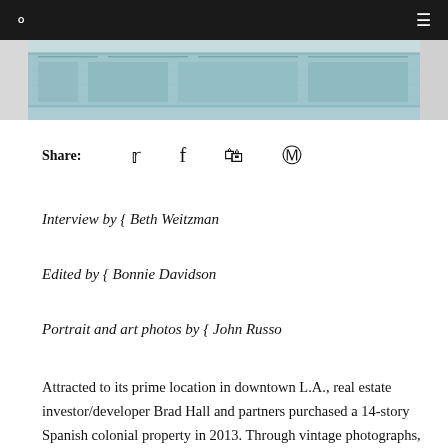[Figure (photo): A horizontal cropped photograph or blueprint image in teal/blue tones, showing what appears to be an architectural or document image strip across the top of the article page.]
Share:
Interview by { Beth Weitzman
Edited by { Bonnie Davidson
Portrait and art photos by { John Russo
Attracted to its prime location in downtown L.A., real estate investor/developer Brad Hall and partners purchased a 14-story Spanish colonial property in 2013. Through vintage photographs, newspaper